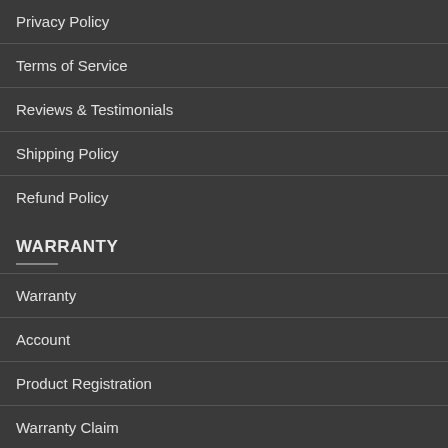Privacy Policy
Terms of Service
Reviews & Testimonials
Shipping Policy
Refund Policy
WARRANTY
Warranty
Account
Product Registration
Warranty Claim